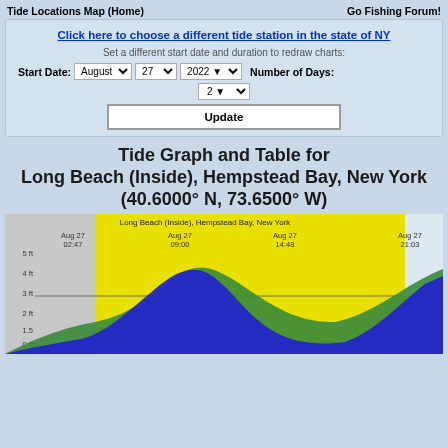Tide Locations Map (Home)    Go Fishing Forum!
Click here to choose a different tide station in the state of NY
Set a different start date and duration to redraw charts:
Start Date: August 27 2022   Number of Days: 2   Update
Tide Graph and Table for Long Beach (Inside), Hempstead Bay, New York (40.6000° N, 73.6500° W)
[Figure (continuous-plot): Tide chart for Long Beach (Inside), Hempstead Bay, New York showing sinusoidal tide curve for Aug 27. X-axis shows times: Aug 27 02:47, Aug 27 09:00, Aug 27 14:48, Aug 27 21:03. Y-axis shows tide height from 0-5 ft. Yellow background indicates daytime, gray indicates nighttime. Blue and green wave shapes show tide levels.]